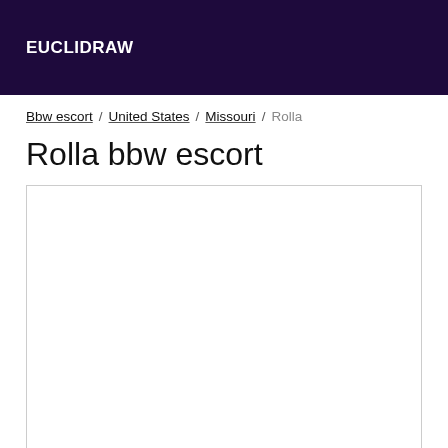EUCLIDRAW
Bbw escort / United States / Missouri / Rolla
Rolla bbw escort
[Figure (other): Empty white content box with border]